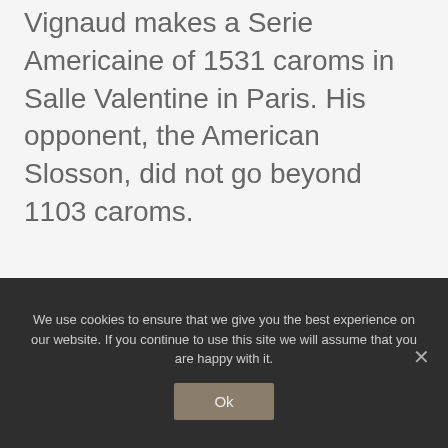Vignaud makes a Serie Americaine of 1531 caroms in Salle Valentine in Paris. His opponent, the American Slosson, did not go beyond 1103 caroms.
1880     The Grand Hotel Krasnapolsky opened a billiard room in Amsterdam
We use cookies to ensure that we give you the best experience on our website. If you continue to use this site we will assume that you are happy with it.